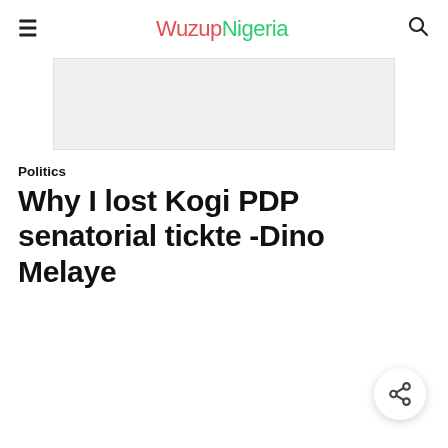WuzupNigeria
[Figure (other): Advertisement banner placeholder, light grey background]
Politics
Why I lost Kogi PDP senatorial tickte -Dino Melaye